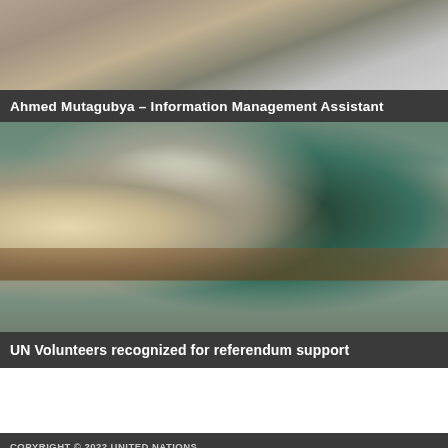[Figure (photo): Top banner photo showing what appears to be a market or indoor scene with blurred figures and objects.]
Ahmed Mutagubya – Information Management Assistant
[Figure (photo): Photo of four people seated at a table in a meeting or discussion setting, including two women and two men. One woman on the right appears to be speaking with hand gestures.]
UN Volunteers recognized for referendum support
COPYRIGHT © 2022 UNITED NATIONS
A TO Z SITE INDEX | SITEMAP | COPYRIGHT | TERMS OF USE | PRIVACY NOTICE |